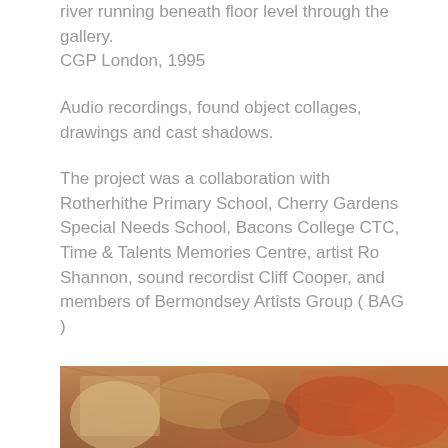river running beneath floor level through the gallery. CGP London, 1995
Audio recordings, found object collages, drawings and cast shadows.
The project was a collaboration with Rotherhithe Primary School, Cherry Gardens Special Needs School, Bacons College CTC, Time & Talents Memories Centre, artist Ro Shannon, sound recordist Cliff Cooper, and members of Bermondsey Artists Group ( BAG )
Funded by Sir John Cass Foundation; Paul Hamlyn Foundation and Newcommen Collet Trust Featured on Costing the Earth, BBC Radio 4
[Figure (photo): Partial view of a photograph showing what appears to be artwork or mixed media pieces with warm brown, orange, and red tones]